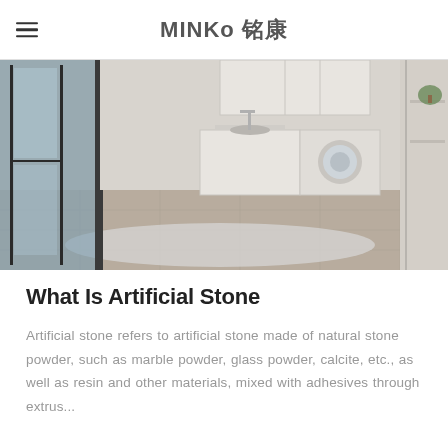MINKO 铭康
[Figure (photo): Interior room with washing machine, sink unit, white cabinetry, large windows with glass door, wood-look tile floor and light rug]
What Is Artificial Stone
Artificial stone refers to artificial stone made of natural stone powder, such as marble powder, glass powder, calcite, etc., as well as resin and other materials, mixed with adhesives through extrus...